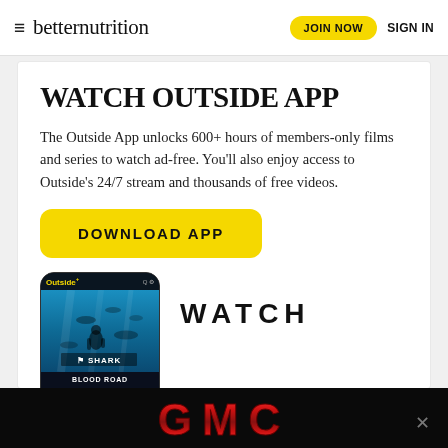betternutrition — JOIN NOW   SIGN IN
WATCH OUTSIDE APP
The Outside App unlocks 600+ hours of members-only films and series to watch ad-free. You'll also enjoy access to Outside's 24/7 stream and thousands of free videos.
[Figure (screenshot): Yellow DOWNLOAD APP button with rounded corners]
[Figure (photo): Mobile phone showing the Outside+ app with a shark diving scene labeled BLOOD ROAD, with WATCH text to the right]
[Figure (logo): GMC logo in red metallic letters on black background advertisement bar at bottom of page]